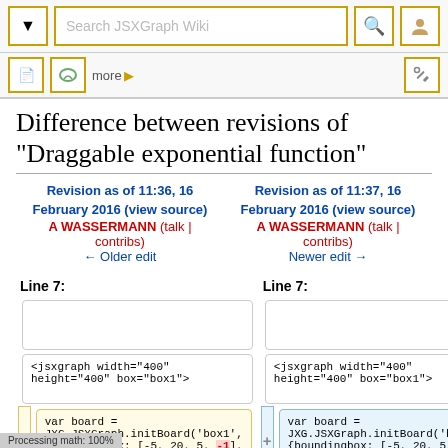Search JSXGraph Wiki
Difference between revisions of "Draggable exponential function"
Revision as of 11:36, 16 February 2016 (view source) A WASSERMANN (talk | contribs) ← Older edit
Revision as of 11:37, 16 February 2016 (view source) A WASSERMANN (talk | contribs) Newer edit →
Line 7:
Line 7:
<jsxgraph width="400" height="400" box="box1">
<jsxgraph width="400" height="400" box="box1">
var board = JXG.JSXGraph.initBoard('box1', {boundingbox: [-5, 20, 5, -1],
var board = JXG.JSXGraph.initBoard('box1', {boundingbox: [-5, 20, 5, -2], axis:true});
Processing math: 100%